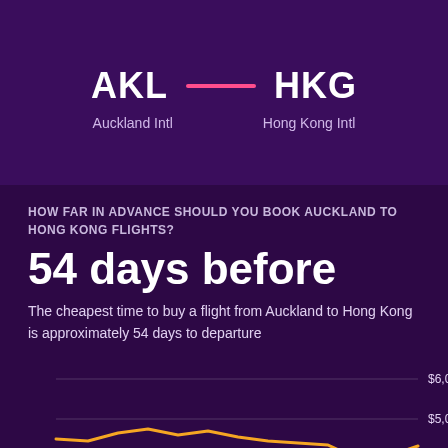[Figure (infographic): Flight route graphic showing AKL (Auckland Intl) to HKG (Hong Kong Intl) with a pink connecting line]
HOW FAR IN ADVANCE SHOULD YOU BOOK AUCKLAND TO HONG KONG FLIGHTS?
54 days before
The cheapest time to buy a flight from Auckland to Hong Kong is approximately 54 days to departure
[Figure (line-chart): Partial line chart showing price vs days before departure, with y-axis labels $6,000, $5,000, $4,000 and a yellow/orange line trending upward on the right side]